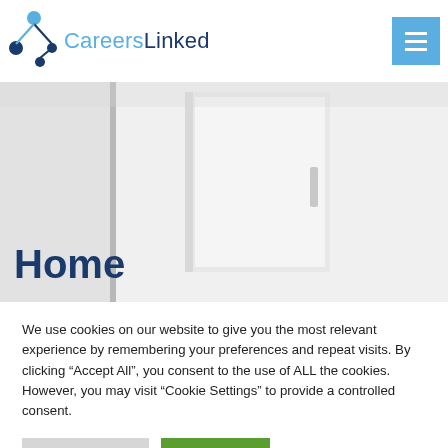[Figure (logo): CareersLinked logo with network node graphic and text 'CareersLinked' in blue tones]
[Figure (photo): Abstract blurred interior photo used as hero banner background]
Home
We use cookies on our website to give you the most relevant experience by remembering your preferences and repeat visits. By clicking “Accept All”, you consent to the use of ALL the cookies. However, you may visit "Cookie Settings" to provide a controlled consent.